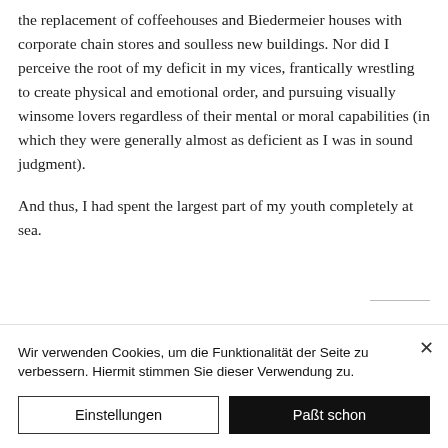the replacement of coffeehouses and Biedermeier houses with corporate chain stores and soulless new buildings. Nor did I perceive the root of my deficit in my vices, frantically wrestling to create physical and emotional order, and pursuing visually winsome lovers regardless of their mental or moral capabilities (in which they were generally almost as deficient as I was in sound judgment).

And thus, I had spent the largest part of my youth completely at sea.
Wir verwenden Cookies, um die Funktionalität der Seite zu verbessern. Hiermit stimmen Sie dieser Verwendung zu.
Einstellungen
Paßt schon